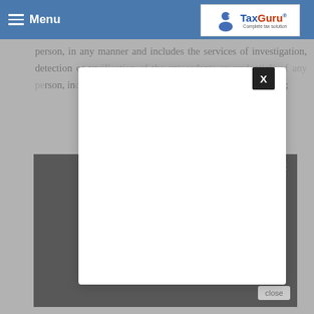Menu | TaxGuru - Complete tax solution
relating to the security of any property, whether movable or immovable, of a person, in any manner and includes the services of investigation, detection or verification of the antecedents or credentials of any person, including the services of providing security personnel;
[Figure (screenshot): Black video/advertisement box with close button and X icon]
The taxable service in relation to a "security